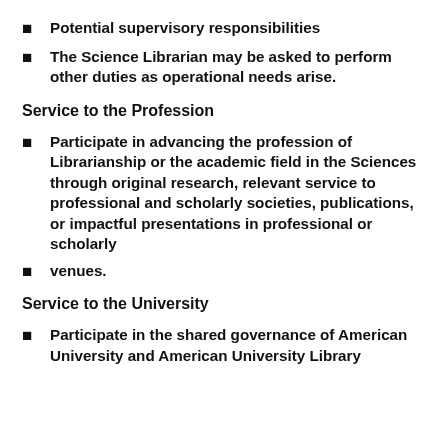Potential supervisory responsibilities
The Science Librarian may be asked to perform other duties as operational needs arise.
Service to the Profession
Participate in advancing the profession of Librarianship or the academic field in the Sciences through original research, relevant service to professional and scholarly societies, publications, or impactful presentations in professional or scholarly
venues.
Service to the University
Participate in the shared governance of American University and American University Library